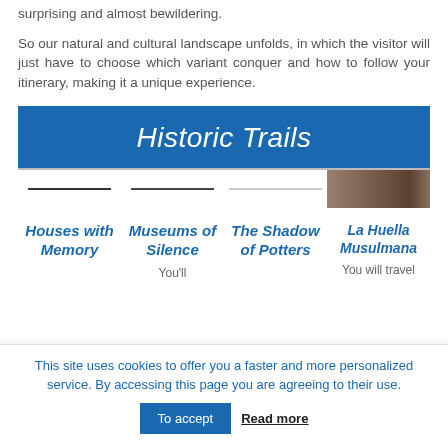surprising and almost bewildering.
So our natural and cultural landscape unfolds, in which the visitor will just have to choose which variant conquer and how to follow your itinerary, making it a unique experience.
Historic Trails
[Figure (photo): Four trail thumbnail images in a row, three with horizontal lines shown as placeholders and one with a photo of rocky terrain.]
Houses with Memory
Museums of Silence
The Shadow of Potters
La Huella Musulmana
You'll
You will travel
This site uses cookies to offer you a faster and more personalized service. By accessing this page you are agreeing to their use.